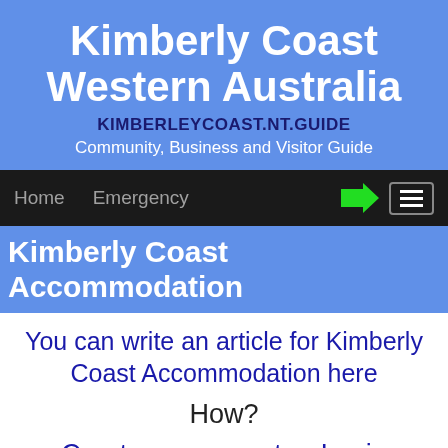Kimberly Coast Western Australia
KIMBERLEYCOAST.NT.GUIDE
Community, Business and Visitor Guide
Home   Emergency
Kimberly Coast Accommodation
You can write an article for Kimberly Coast Accommodation here
How?
Create an account or Login
To make an article is easy with your "Articles Menu"